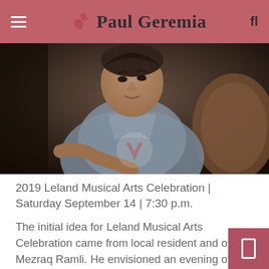Paul Geremia
[Figure (photo): Portrait painting of a person seated in a chair, wearing a light blue short-sleeve shirt, rendered in a realistic painterly style with warm brown tones in the background.]
2019 Leland Musical Arts Celebration | Saturday September 14 | 7:30 p.m.
The initial idea for Leland Musical Arts Celebration came from local resident and oboist Mezraq Ramli. He envisioned an evening of classical music featuring musicians from across the country and even the world. Now in its third year, the Leland